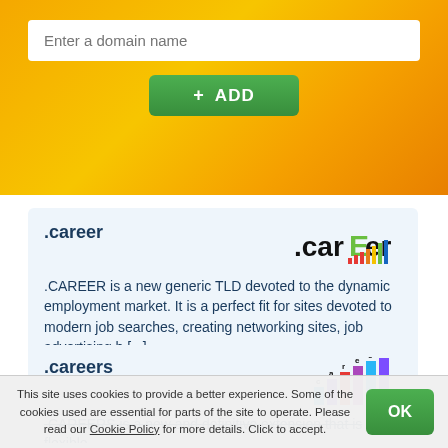[Figure (screenshot): Orange banner with domain name input field and green ADD button]
.career
[Figure (logo): .career TLD logo with green E and bar chart icon]
.CAREER is a new generic TLD devoted to the dynamic employment market. It is a perfect fit for sites devoted to modern job searches, creating networking sites, job advertising h [...]
read more
.careers
[Figure (logo): .careers TLD logo with colorful bar chart]
.CAREERS is a new and definitive extension that is flexible
This site uses cookies to provide a better experience. Some of the cookies used are essential for parts of the site to operate. Please read our Cookie Policy for more details. Click to accept.